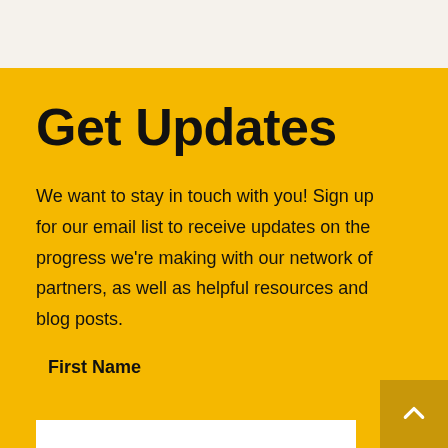Get Updates
We want to stay in touch with you! Sign up for our email list to receive updates on the progress we're making with our network of partners, as well as helpful resources and blog posts.
First Name